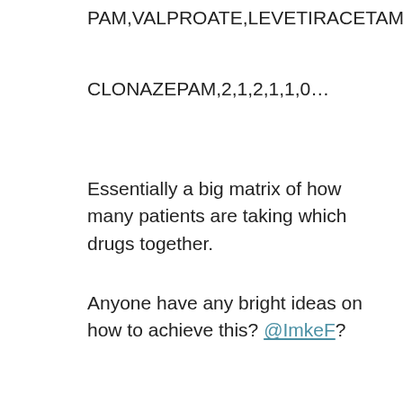PAM,VALPROATE,LEVETIRACETAM…
CLONAZEPAM,2,1,2,1,1,0…
Essentially a big matrix of how many patients are taking which drugs together.
Anyone have any bright ideas on how to achieve this? @ImkeF?
@ me in replies or I'll lose your thread!!!
Become an expert!: Enterprise DNA
External Tools: MSHGQM
YouTube Channel!: Microsoft Hates Greg
Latest book!: Mastering Power BI 2nd Edition